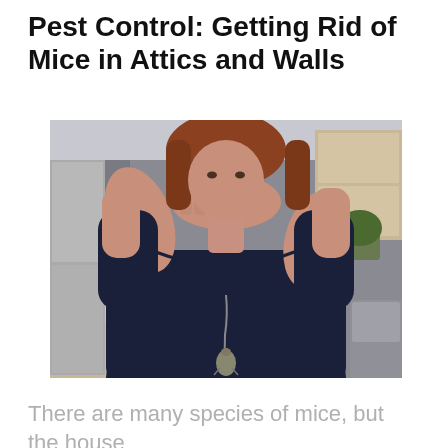Pest Control: Getting Rid of Mice in Attics and Walls
[Figure (photo): A woman in a black long-sleeve top holding a dead mouse by its tail with one hand while covering her nose and mouth with the other hand, standing in a kitchen with appliances and cabinets in the background.]
There are many species of mice, but the house mice are the most common. It was once a